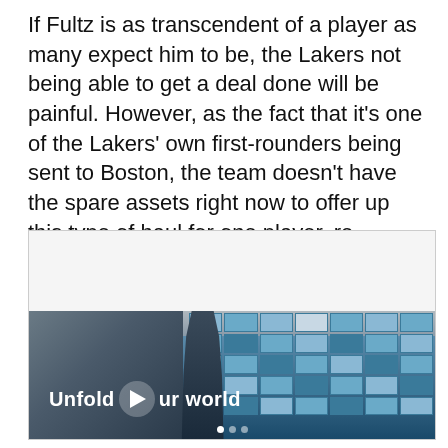If Fultz is as transcendent of a player as many expect him to be, the Lakers not being able to get a deal done will be painful. However, as the fact that it's one of the Lakers' own first-rounders being sent to Boston, the team doesn't have the spare assets right now to offer up this type of haul for one player, re-emptying their asset cupboards in the process.
[Figure (other): Advertisement banner showing a young man standing in front of a blue tile wall in an indoor setting, with the text 'Unfold your world' and a play button overlay. An 'AD' label appears in the top right corner.]